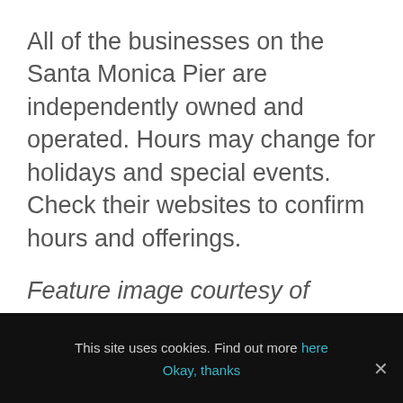All of the businesses on the Santa Monica Pier are independently owned and operated. Hours may change for holidays and special events. Check their websites to confirm hours and offerings.
Feature image courtesy of @eatmytravel.
This site uses cookies. Find out more here
Okay, thanks